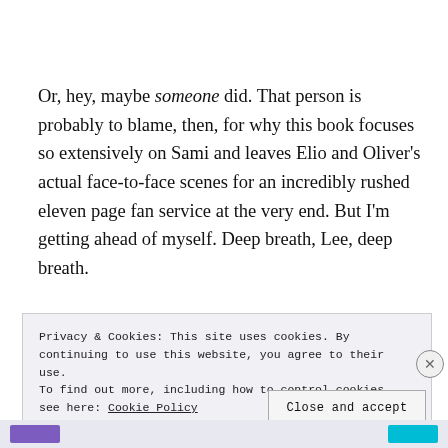Or, hey, maybe someone did. That person is probably to blame, then, for why this book focuses so extensively on Sami and leaves Elio and Oliver's actual face-to-face scenes for an incredibly rushed eleven page fan service at the very end. But I'm getting ahead of myself. Deep breath, Lee, deep breath.
Privacy & Cookies: This site uses cookies. By continuing to use this website, you agree to their use.
To find out more, including how to control cookies, see here: Cookie Policy
Close and accept